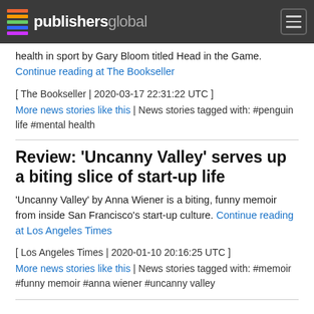publishersglobal
health in sport by Gary Bloom titled Head in the Game. Continue reading at The Bookseller
[ The Bookseller | 2020-03-17 22:31:22 UTC ]
More news stories like this | News stories tagged with: #penguin life #mental health
Review: 'Uncanny Valley' serves up a biting slice of start-up life
'Uncanny Valley' by Anna Wiener is a biting, funny memoir from inside San Francisco's start-up culture. Continue reading at Los Angeles Times
[ Los Angeles Times | 2020-01-10 20:16:25 UTC ]
More news stories like this | News stories tagged with: #memoir #funny memoir #anna wiener #uncanny valley